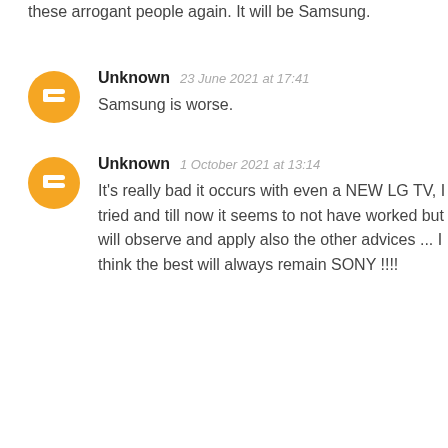these arrogant people again. It will be Samsung.
Unknown  23 June 2021 at 17:41
Samsung is worse.
Unknown  1 October 2021 at 13:14
It's really bad it occurs with even a NEW LG TV, I tried and till now it seems to not have worked but will observe and apply also the other advices ... I think the best will always remain SONY !!!!